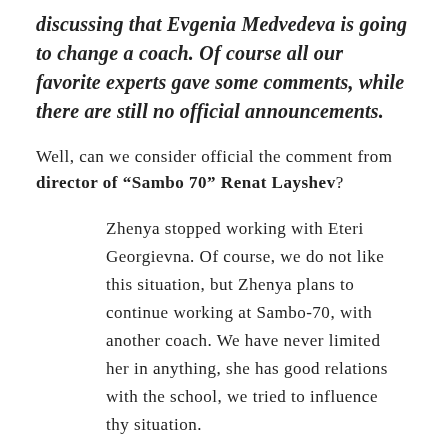discussing that Evgenia Medvedeva is going to change a coach. Of course all our favorite experts gave some comments, while there are still no official announcements.
Well, can we consider official the comment from director of “Sambo 70” Renat Layshev?
Zhenya stopped working with Eteri Georgievna. Of course, we do not like this situation, but Zhenya plans to continue working at Sambo-70, with another coach. We have never limited her in anything, she has good relations with the school, we tried to influence thy situation.